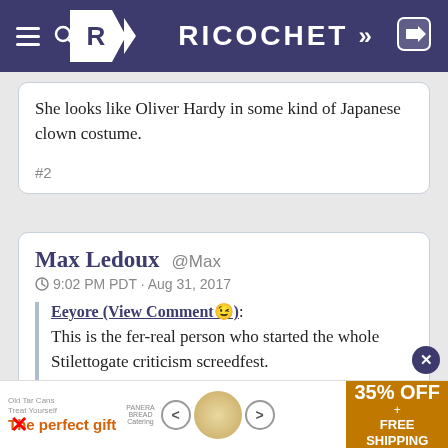RICOCHET
She looks like Oliver Hardy in some kind of Japanese clown costume.
#2
Max Ledoux @Max
9:02 PM PDT · Aug 31, 2017
Eeyore (View Comment😉): This is the fer-real person who started the whole Stilettogate criticism screedfest.
Presenting Vogue columnist Lynne Yaeger:
[Figure (photo): Partial view of a person, cropped at bottom of card]
The perfect gift  35% OFF + FREE SHIPPING